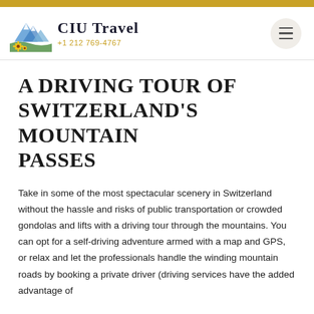CIU Travel +1 212 769-4767
A DRIVING TOUR OF SWITZERLAND'S MOUNTAIN PASSES
Take in some of the most spectacular scenery in Switzerland without the hassle and risks of public transportation or crowded gondolas and lifts with a driving tour through the mountains. You can opt for a self-driving adventure armed with a map and GPS, or relax and let the professionals handle the winding mountain roads by booking a private driver (driving services have the added advantage of